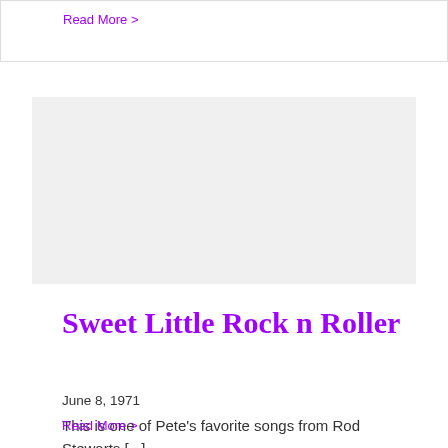Read More >
[Figure (other): Gray placeholder image box]
Sweet Little Rock n Roller
June 8, 1971
This is one of Pete's favorite songs from Rod Stewarts [...]
Read More >